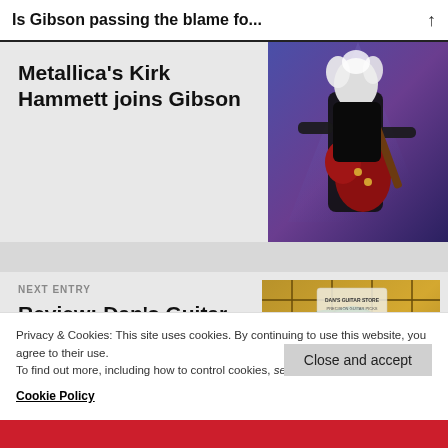Is Gibson passing the blame fo...
Metallica's Kirk Hammett joins Gibson
[Figure (photo): Performer with curly white hair playing a red Les Paul Gibson guitar on stage with blue/purple lighting]
NEXT ENTRY
Review: Dan's Guitar Store Precision Guitar Picks
[Figure (photo): Close-up of green guitar picks (Dan's Guitar Store Precision Guitar Picks) resting on guitar strings]
Privacy & Cookies: This site uses cookies. By continuing to use this website, you agree to their use.
To find out more, including how to control cookies, see here:
Cookie Policy
Close and accept